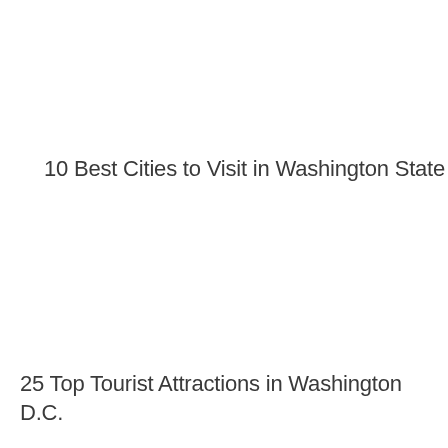10 Best Cities to Visit in Washington State
25 Top Tourist Attractions in Washington D.C.